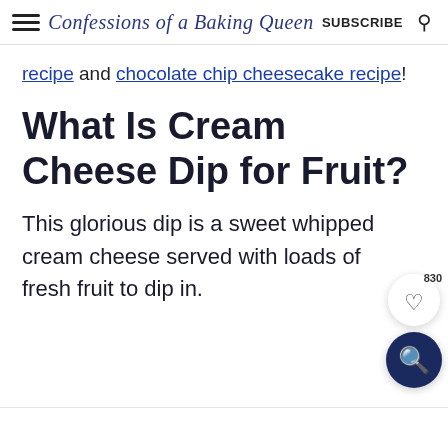Confessions of a Baking Queen | SUBSCRIBE
recipe and chocolate chip cheesecake recipe!
What Is Cream Cheese Dip for Fruit?
This glorious dip is a sweet whipped cream cheese served with loads of fresh fruit to dip in.